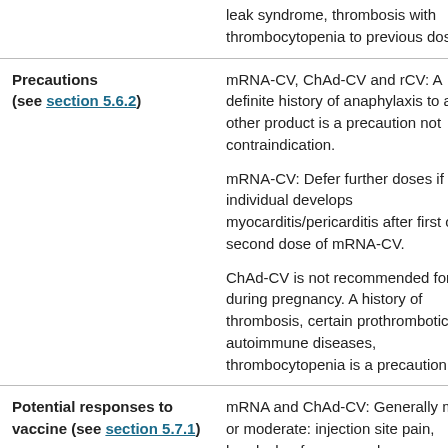|  | leak syndrome, thrombosis with thrombocytopenia to previous dose. |
| Precautions (see section 5.6.2) | mRNA-CV, ChAd-CV and rCV: A definite history of anaphylaxis to any other product is a precaution not contraindication.

mRNA-CV: Defer further doses if individual develops myocarditis/pericarditis after first or second dose of mRNA-CV.

ChAd-CV is not recommended for use during pregnancy. A history of thrombosis, certain prothrombotic autoimmune diseases, thrombocytopenia is a precaution. |
| Potential responses to vaccine (see section 5.7.1) | mRNA and ChAd-CV: Generally mild or moderate: injection site pain, headache, fever, muscle ache, chills, nausea. |